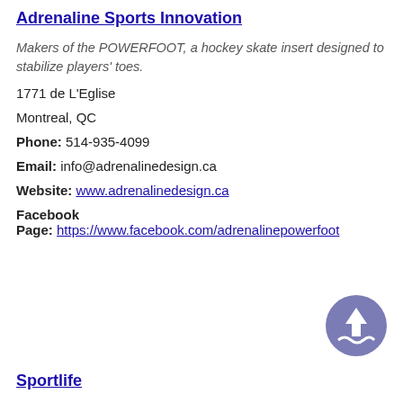Adrenaline Sports Innovation
Makers of the POWERFOOT, a hockey skate insert designed to stabilize players' toes.
1771 de L'Eglise
Montreal, QC
Phone: 514-935-4099
Email: info@adrenalinedesign.ca
Website: www.adrenalinedesign.ca
Facebook
Page: https://www.facebook.com/adrenalinepowerfoot
[Figure (logo): Circular logo with upward arrow and wave, purple/blue background]
Sportlife